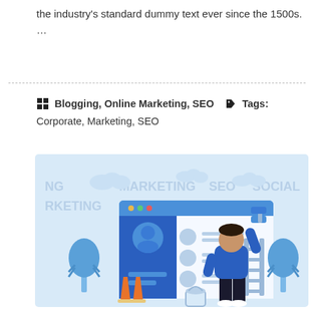the industry's standard dummy text ever since the 1500s. …
■■ Blogging, Online Marketing, SEO  ◆ Tags: Corporate, Marketing, SEO
[Figure (illustration): Digital marketing illustration showing a person painting a website/app interface on a large screen, with trees, traffic cones, a paint bucket, and a ladder. Background text labels: NG, MARKETING, SEO, SOCIAL, RKETING on a light blue background.]